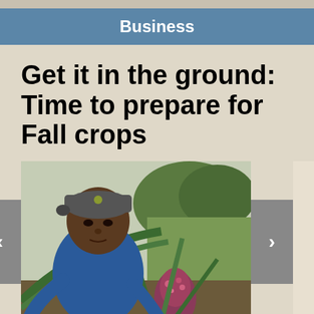Business
Get it in the ground: Time to prepare for Fall crops
[Figure (photo): A man wearing a blue jacket and grey cap looking closely at a pineapple plant growing in a field, with tropical vegetation in the background]